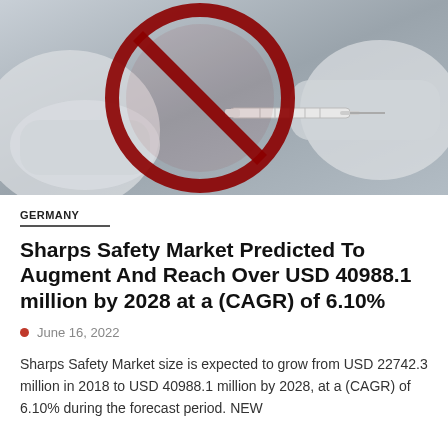[Figure (photo): Photo of a person in white lab coat and gloves holding a syringe, with a large red prohibition/no symbol overlaid on top of the image.]
GERMANY
Sharps Safety Market Predicted To Augment And Reach Over USD 40988.1 million by 2028 at a (CAGR) of 6.10%
June 16, 2022
Sharps Safety Market size is expected to grow from USD 22742.3 million in 2018 to USD 40988.1 million by 2028, at a (CAGR) of 6.10% during the forecast period. NEW